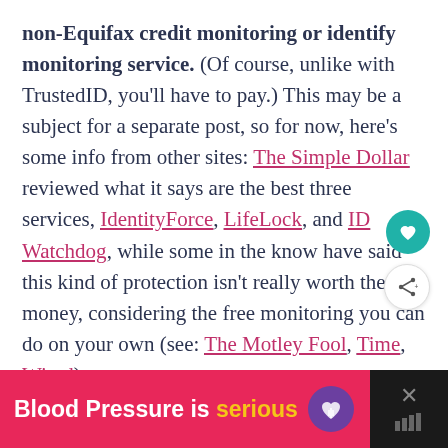non-Equifax credit monitoring or identify monitoring service. (Of course, unlike with TrustedID, you'll have to pay.) This may be a subject for a separate post, so for now, here's some info from other sites: The Simple Dollar reviewed what it says are the best three services, IdentityForce, LifeLock, and ID Watchdog, while some in the know have said this kind of protection isn't really worth the money, considering the free monitoring you can do on your own (see: The Motley Fool, Time, Wired).
[Figure (other): Pink and black advertisement banner at the bottom: 'Blood Pressure is serious' with a purple heart logo icon, and a close button (X) on the dark right side with a weather widget icon]